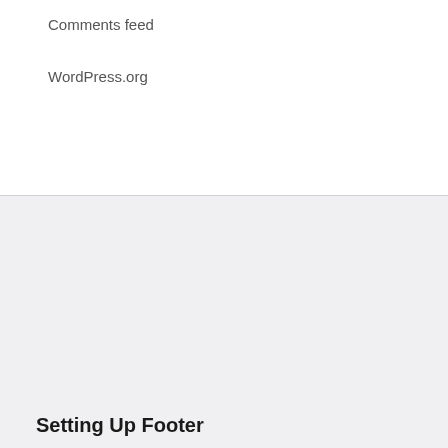Comments feed
WordPress.org
Setting Up Footer
Lorem ipsum dolor sit amet, consectetur adipisicing elit, sed do eiusmod tempor incididunt ut labore et dolore magna aliqua.
Contact Details
Lorem ipsum dolor sit amet, consectetur adipisicing elit, sed do eiusmod tempor incididunt ut labore et dolore magna aliqua.